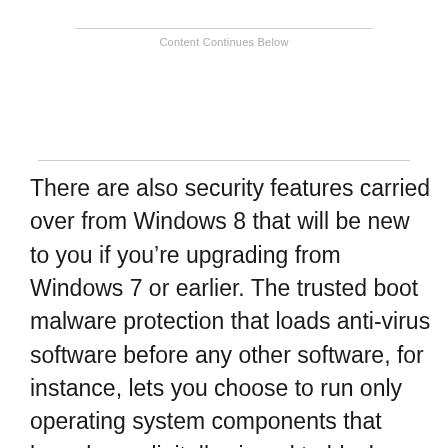Content Continues Below
There are also security features carried over from Windows 8 that will be new to you if you’re upgrading from Windows 7 or earlier. The trusted boot malware protection that loads anti-virus software before any other software, for instance, lets you choose to run only operating system components that have been digitally signed to block rootkits, and can store the proof that the system booted securely in the Trusted Platform Module (TPM) – so you can check for that before allowing devices to connect to critical systems, especially when you’re using the TPM as a virtual